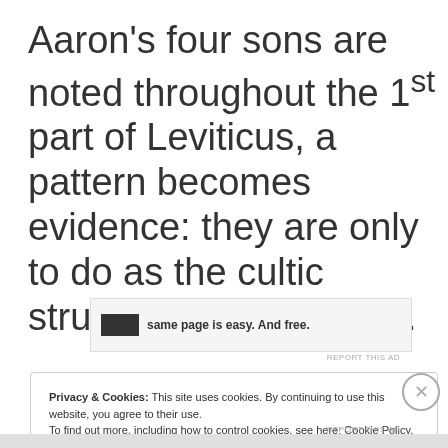Aaron's four sons are noted throughout the 1st part of Leviticus, a pattern becomes evidence: they are only to do as the cultic structure permits them.
[Figure (other): Advertisement banner with small black icon and text 'same page is easy. And free.']
REPORT THIS AD
Privacy & Cookies: This site uses cookies. By continuing to use this website, you agree to their use.
To find out more, including how to control cookies, see here: Cookie Policy